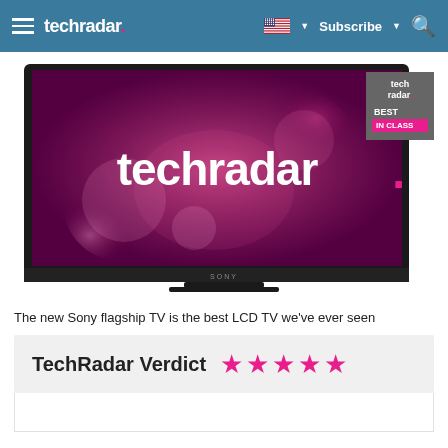techradar. Subscribe
[Figure (photo): A Sony flat-screen TV displaying the TechRadar logo on a magenta/pink bokeh background, with a TechRadar Best In Class badge in the top right corner.]
The new Sony flagship TV is the best LCD TV we've ever seen
TechRadar Verdict ★★★★★